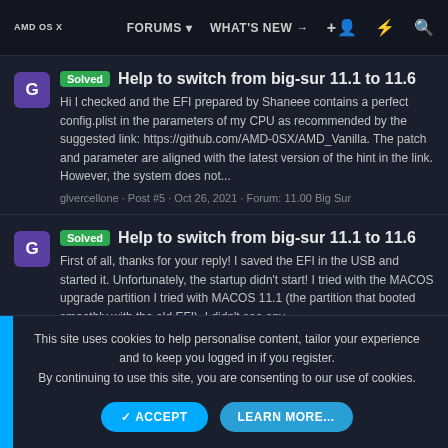AMD OS X | FORUMS | WHAT'S NEW
Solved  Help to switch from big-sur 11.1 to 11.6
Hi I checked and the EFI prepared by Shaneee contains a perfect config.plist in the parameters of my CPU as recommended by the suggested link: https://github.com/AMD-0SX/AMD_Vanilla. The patch and parameter are aligned with the latest version of the hint in the link. However, the system does not...
glvercellone · Post #5 · Oct 26, 2021 · Forum: 11.00 Big Sur
Solved  Help to switch from big-sur 11.1 to 11.6
First of all, thanks for your reply! I saved the EFI in the USB and started it. Unfortunately, the startup didn't start! I tried with the MACOS upgrade partition I tried with MACOS 11.1 (the partition that booted smoothly with the old EFI). I didn't see any
This site uses cookies to help personalise content, tailor your experience and to keep you logged in if you register. By continuing to use this site, you are consenting to our use of cookies.